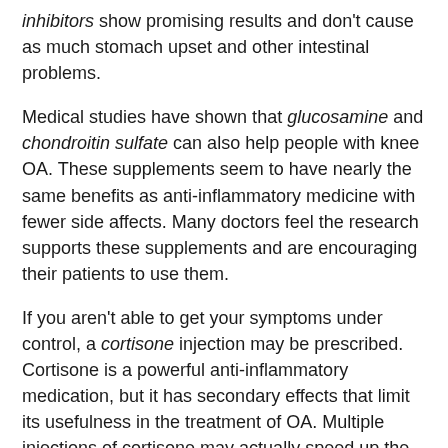inhibitors show promising results and don't cause as much stomach upset and other intestinal problems.
Medical studies have shown that glucosamine and chondroitin sulfate can also help people with knee OA. These supplements seem to have nearly the same benefits as anti-inflammatory medicine with fewer side affects. Many doctors feel the research supports these supplements and are encouraging their patients to use them.
If you aren't able to get your symptoms under control, a cortisone injection may be prescribed. Cortisone is a powerful anti-inflammatory medication, but it has secondary effects that limit its usefulness in the treatment of OA. Multiple injections of cortisone may actually speed up the process of degeneration.
Repeated injections also increase the risk of